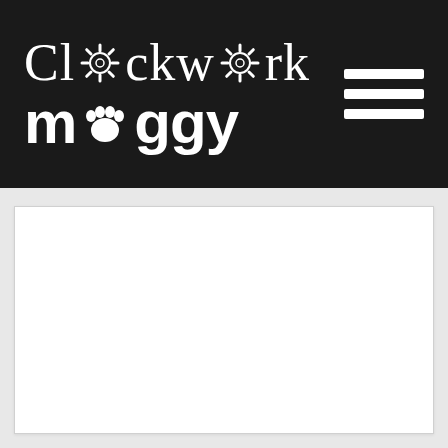Clockwork moggy
[Figure (other): White content area / blank panel below the header]